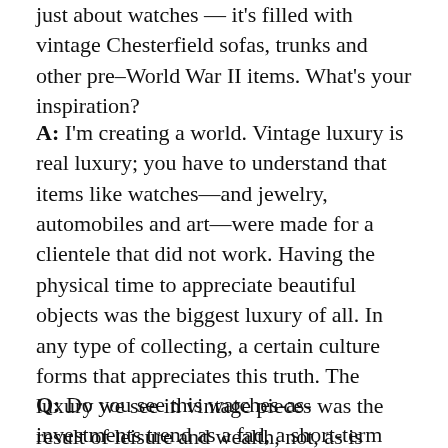just about watches — it's filled with vintage Chesterfield sofas, trunks and other pre–World War II items. What's your inspiration?
A: I'm creating a world. Vintage luxury is real luxury; you have to understand that items like watches—and jewelry, automobiles and art—were made for a clientele that did not work. Having the physical time to appreciate beautiful objects was the biggest luxury of all. In any type of collecting, a certain culture forms that appreciates this truth. The luxury we see in vintage pieces was the result of leisure and wealth, not, as is often the case today, the result of advertising.
Q: Do you see this watches-as-investments trend as a fad, a short-term type of investment,